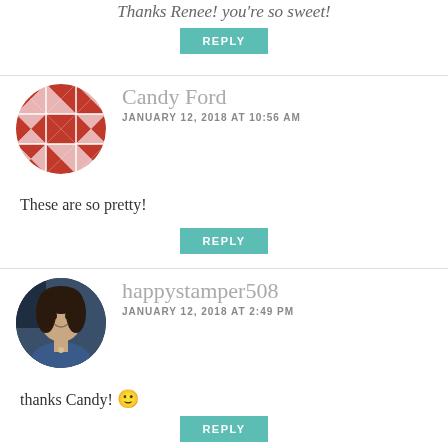Thanks Renee! you're so sweet!
REPLY
Candy Ford
JANUARY 12, 2018 AT 10:56 AM
These are so pretty!
REPLY
happystamper508
JANUARY 12, 2018 AT 2:49 PM
thanks Candy! 🙂
REPLY